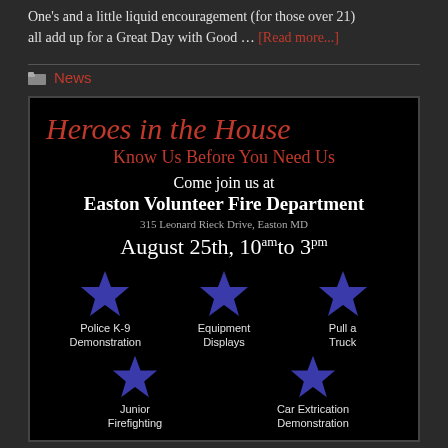One's and a little liquid encouragement (for those over 21) all add up for a Great Day with Good … [Read more...]
News
[Figure (infographic): Heroes in the House event poster on black background. Text reads: Heroes in the House, Know Us Before You Need Us, Come join us at Easton Volunteer Fire Department, 315 Leonard Rieck Drive, Easton MD, August 25th, 10am to 3pm. Bottom section shows blue stars with activity labels: Police K-9 Demonstration, Equipment Displays, Pull a Truck, Junior Firefighting, Car Extrication Demonstration.]